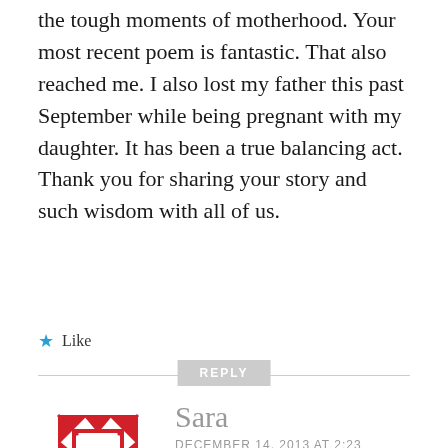the tough moments of motherhood. Your most recent poem is fantastic. That also reached me. I also lost my father this past September while being pregnant with my daughter. It has been a true balancing act. Thank you for sharing your story and such wisdom with all of us.
★ Like
REPLY
[Figure (logo): Red and white geometric pinwheel/star avatar logo for user Sara]
Sara
DECEMBER 14, 2013 AT 2:23 PM